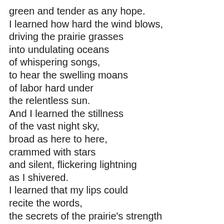green and tender as any hope.
I learned how hard the wind blows,
driving the prairie grasses
into undulating oceans
of whispering songs,
to hear the swelling moans
of labor hard under
the relentless sun.
And I learned the stillness
of the vast night sky,
broad as here to here,
crammed with stars
and silent, flickering lightning
as I shivered.
I learned that my lips could
recite the words,
the secrets of the prairie's strength
and that I, too, could
swallow those truths,
feel them expand
rising and rising like the hills
to meet the clean line of horizon.